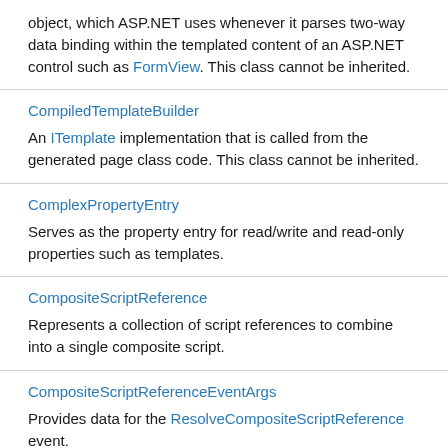object, which ASP.NET uses whenever it parses two-way data binding within the templated content of an ASP.NET control such as FormView. This class cannot be inherited.
CompiledTemplateBuilder
An ITemplate implementation that is called from the generated page class code. This class cannot be inherited.
ComplexPropertyEntry
Serves as the property entry for read/write and read-only properties such as templates.
CompositeScriptReference
Represents a collection of script references to combine into a single composite script.
CompositeScriptReferenceEventArgs
Provides data for the ResolveCompositeScriptReference event.
ConstructorNeedsTagAttribute
Specifies that a server control needs a tag name in its